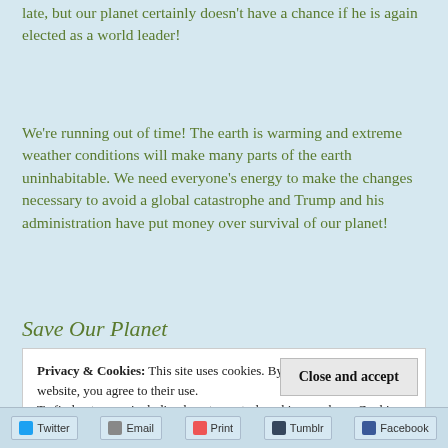late, but our planet certainly doesn't have a chance if he is again elected as a world leader!
We're running out of time! The earth is warming and extreme weather conditions will make many parts of the earth uninhabitable. We need everyone's energy to make the changes necessary to avoid a global catastrophe and Trump and his administration have put money over survival of our planet!
Save Our Planet
Privacy & Cookies: This site uses cookies. By continuing to use this website, you agree to their use.
To find out more, including how to control cookies, see here: Cookie Policy
Close and accept
Twitter  Email  Print  Tumblr  Facebook